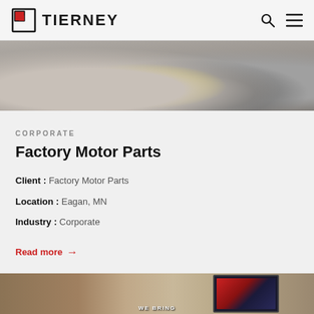TIERNEY
[Figure (photo): Interior room photo showing gray sofas, yellow accent piece, and wooden floor]
CORPORATE
Factory Motor Parts
Client : Factory Motor Parts
Location : Eagan, MN
Industry : Corporate
Read more →
[Figure (photo): Interior room photo with TV screen showing WE BRING text]